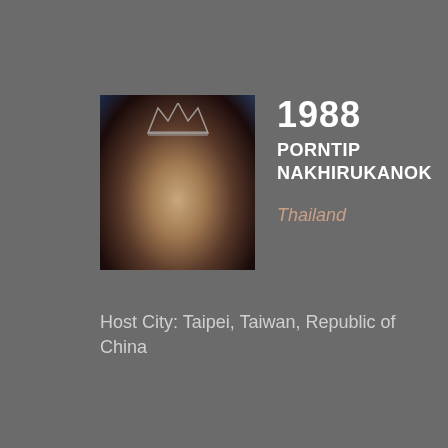[Figure (photo): Portrait photo of Porntip Nakhirukanok wearing a crown/tiara against a dark blue background]
1988
PORNTIP NAKHIRUKANOK
Thailand
Host City: Taipei, Taiwan, Republic of China